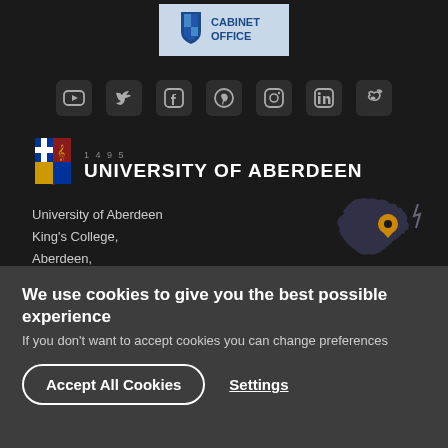[Figure (logo): Cabinet Office logo banner with blue shield icon and text 'OFFICE' visible, on light grey background]
[Figure (infographic): Row of social media icons: YouTube, Twitter, Facebook, Pinterest, Instagram, LinkedIn, Weibo — dark rounded square icons on dark background]
[Figure (logo): University of Aberdeen crest shield logo (founded 1495) with coat of arms in red, blue, gold]
UNIVERSITY OF ABERDEEN
University of Aberdeen
King's College,
Aberdeen,
AB243FX
[Figure (map): Silhouette map of Scotland in dark grey with a gold location pin marker indicating Aberdeen area]
We use cookies to give you the best possible experience
If you don't want to accept cookies you can change preferences
Accept All Cookies
Settings